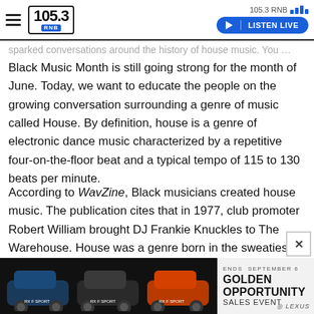105.3 RNB — LISTEN LIVE
sparked conversations around the history of house music. You … Black people are at the forefront.
Black Music Month is still going strong for the month of June. Today, we want to educate the people on the growing conversation surrounding a genre of music called House. By definition, house is a genre of electronic dance music characterized by a repetitive four-on-the-floor beat and a typical tempo of 115 to 130 beats per minute.
According to WavZine, Black musicians created house music. The publication cites that in 1977, club promoter Robert William brought DJ Frankie Knuckles to The Warehouse. House was a genre born in the sweatiest, strangest parts of an oppressed city to be raised and cared for by the minorities of the early '80s.
[Figure (photo): Advertisement banner: Lexus Golden Opportunity Sales Event with cars shown]
ENDS SEPTEMBER 6 — GOLDEN OPPORTUNITY SALES EVENT — LEXUS